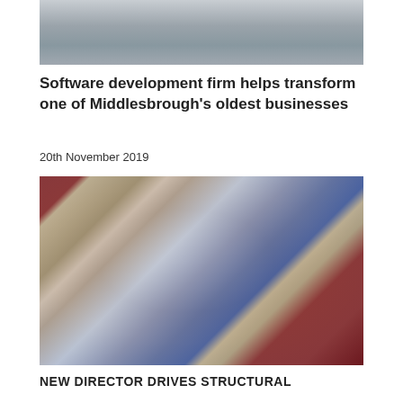[Figure (photo): Partial photo of two people standing near shelving with binders/folders, cropped at top of page]
Software development firm helps transform one of Middlesbrough’s oldest businesses
20th November 2019
[Figure (photo): Man in dark blue suit jacket smiling in front of a red-framed building with BWO signage and number 19-20]
NEW DIRECTOR DRIVES STRUCTURAL